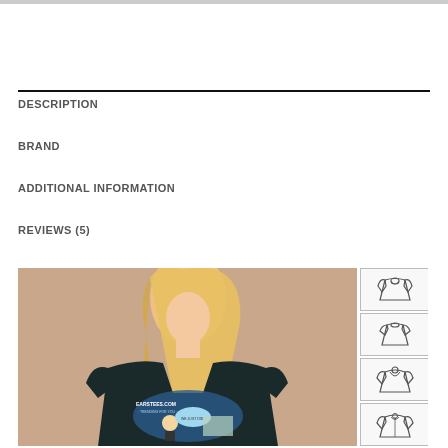DESCRIPTION
BRAND
ADDITIONAL INFORMATION
REVIEWS (5)
[Figure (photo): Woman wearing a black t-shirt with a graphic design (earstees.com branding visible). Four clothing style thumbnail icons shown to the right.]